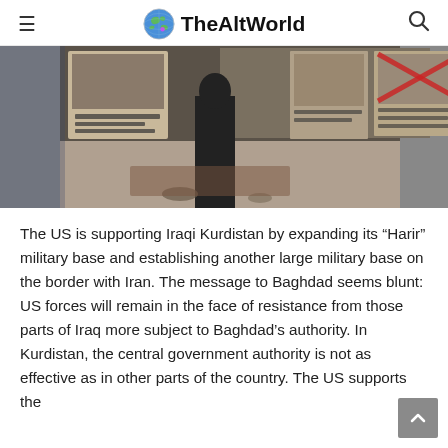TheAltWorld
[Figure (photo): A street scene showing protest posters with Arabic text and images; a person standing in silhouette against a backdrop of banners/posters.]
The US is supporting Iraqi Kurdistan by expanding its “Harir” military base and establishing another large military base on the border with Iran. The message to Baghdad seems blunt: US forces will remain in the face of resistance from those parts of Iraq more subject to Baghdad’s authority. In Kurdistan, the central government authority is not as effective as in other parts of the country. The US supports the